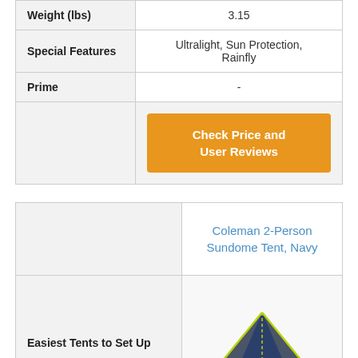|  |  |
| --- | --- |
| Weight (lbs) | 3.15 |
| Special Features | Ultralight, Sun Protection, Rainfly |
| Prime | - |
|  | Check Price and User Reviews |
|  | Coleman 2-Person Sundome Tent, Navy |
| --- | --- |
| Easiest Tents to Set Up | [tent image] |